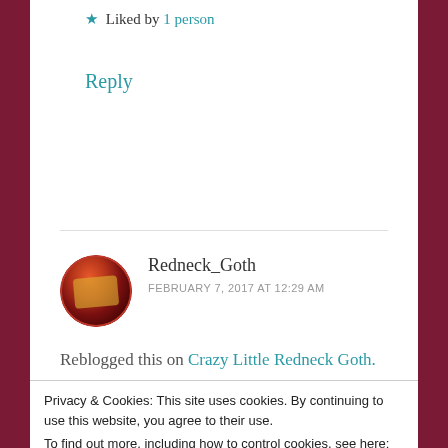★ Liked by 1 person
Reply
Redneck_Goth
FEBRUARY 7, 2017 AT 12:29 AM
Reblogged this on Crazy Little Redneck Goth.
Privacy & Cookies: This site uses cookies. By continuing to use this website, you agree to their use.
To find out more, including how to control cookies, see here:
Cookie Policy
Close and accept